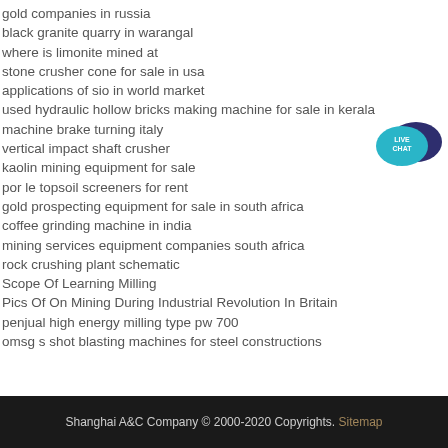gold companies in russia
black granite quarry in warangal
where is limonite mined at
stone crusher cone for sale in usa
applications of sio in world market
used hydraulic hollow bricks making machine for sale in kerala
machine brake turning italy
vertical impact shaft crusher
kaolin mining equipment for sale
por le topsoil screeners for rent
gold prospecting equipment for sale in south africa
coffee grinding machine in india
mining services equipment companies south africa
rock crushing plant schematic
Scope Of Learning Milling
Pics Of On Mining During Industrial Revolution In Britain
penjual high energy milling type pw 700
omsg s shot blasting machines for steel constructions
[Figure (logo): Live Chat button with speech bubble icons in teal and dark navy blue, text reads LIVE CHAT]
Shanghai A&C Company © 2000-2020 Copyrights. Sitemap